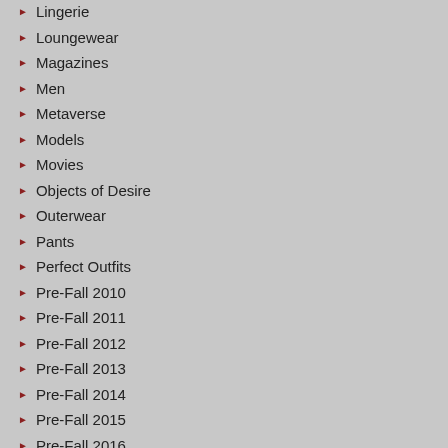Lingerie
Loungewear
Magazines
Men
Metaverse
Models
Movies
Objects of Desire
Outerwear
Pants
Perfect Outfits
Pre-Fall 2010
Pre-Fall 2011
Pre-Fall 2012
Pre-Fall 2013
Pre-Fall 2014
Pre-Fall 2015
Pre-Fall 2016
Pre-Fall 2017
Pre-Fall 2018
Pre-fall 2019
Pre-fall 2020
Pre-Fall 2021
Enriched with antioxid
S
Very water-resistant – SPF 50
[Figure (photo): Chanel product (sunscreen/skincare tube) on light blue background]